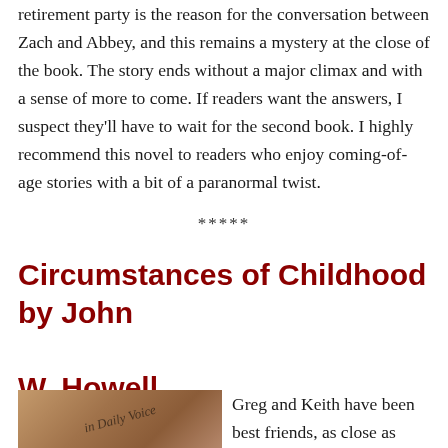retirement party is the reason for the conversation between Zach and Abbey, and this remains a mystery at the close of the book. The story ends without a major climax and with a sense of more to come. If readers want the answers, I suspect they'll have to wait for the second book. I highly recommend this novel to readers who enjoy coming-of-age stories with a bit of a paranormal twist.
*****
Circumstances of Childhood by John W. Howell
[Figure (photo): Newspaper front page with masthead text 'Daily Voice' visible, warm brown/sepia tones]
Greg and Keith have been best friends, as close as